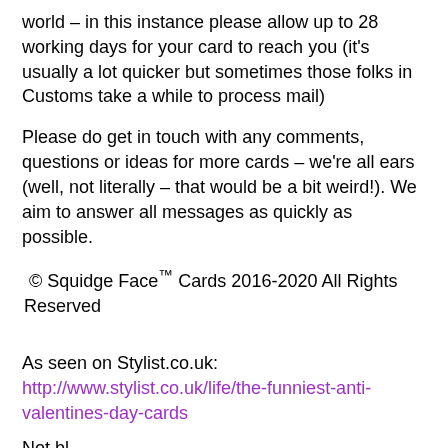world – in this instance please allow up to 28 working days for your card to reach you (it's usually a lot quicker but sometimes those folks in Customs take a while to process mail)
Please do get in touch with any comments, questions or ideas for more cards – we're all ears (well, not literally – that would be a bit weird!). We aim to answer all messages as quickly as possible.
© Squidge Face™ Cards 2016-2020 All Rights Reserved
As seen on Stylist.co.uk:
http://www.stylist.co.uk/life/the-funniest-anti-valentines-day-cards
Not bl...